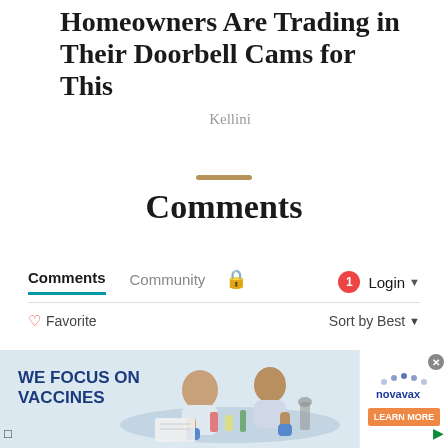Homeowners Are Trading in Their Doorbell Cams for This
Kellini
Comments
Comments  Community  🔒  1  Login  ♡ Favorite  Sort by Best
[Figure (screenshot): Advertisement for Novavax vaccines showing scientists working at a lab table with text 'WE FOCUS ON VACCINES' and a 'LEARN MORE' button, with Novavax branding on the side.]